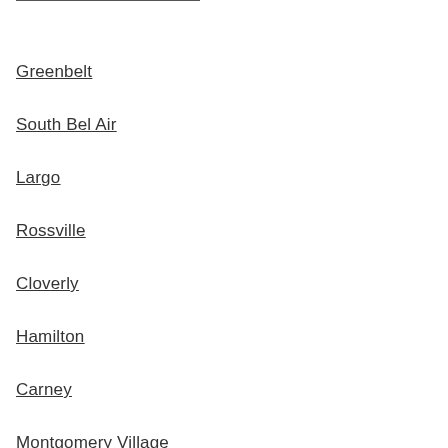Greenbelt
South Bel Air
Largo
Rossville
Cloverly
Hamilton
Carney
Montgomery Village
Damascus
Easton